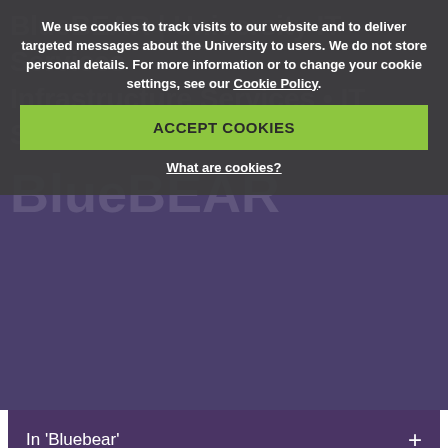We use cookies to track visits to our website and to deliver targeted messages about the University to users. We do not store personal details. For more information or to change your cookie settings, see our Cookie Policy.
ACCEPT COOKIES
What are cookies?
In 'Bluebear'
BlueBEAR is the University supercomputer, for high performance computing (HPC) and high throughput computing (HTC). BlueBEAR employs some of the latest technology to deliver fast and efficient processing capacity for researchers while minimizing energy consumption by using direct, on-chip, water cooling. The service is free at the point of use to all researchers at the University.